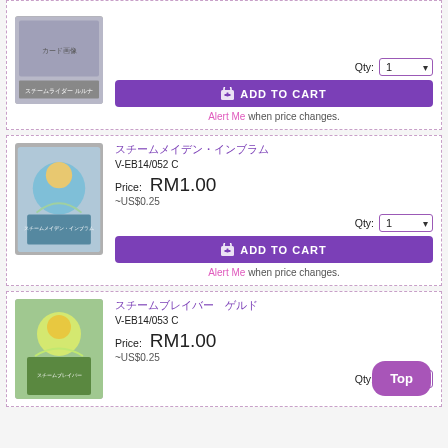[Figure (illustration): Partial product card at top of page - trading card image (partially visible)]
ADD TO CART
Alert Me when price changes.
[Figure (illustration): Product card - trading card image for V-EB14/052 C]
スチームメイデン・インブラム
V-EB14/052 C
Price: RM1.00
~US$0.25
Qty: 1
ADD TO CART
Alert Me when price changes.
[Figure (illustration): Product card - trading card image for V-EB14/053 C]
スチームブレイバー
V-EB14/053 C
Price: RM1.00
~US$0.25
Qty: 1